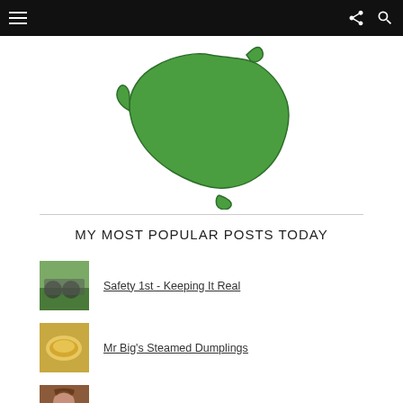Navigation bar with menu, share, and search icons
[Figure (map): Green silhouette map of Australia including Tasmania on white background]
MY MOST POPULAR POSTS TODAY
Safety 1st - Keeping It Real
Mr Big's Steamed Dumplings
The Most Beautiful Man In The World
The Worst Thing About Being A Photographer